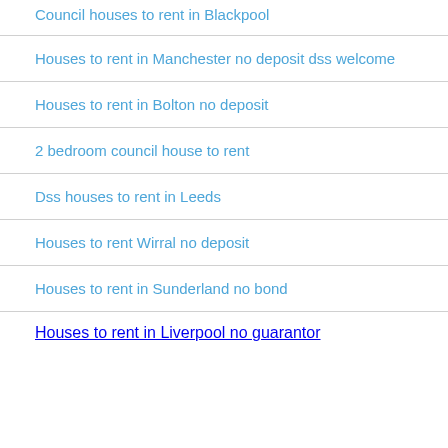Council houses to rent in Blackpool
Houses to rent in Manchester no deposit dss welcome
Houses to rent in Bolton no deposit
2 bedroom council house to rent
Dss houses to rent in Leeds
Houses to rent Wirral no deposit
Houses to rent in Sunderland no bond
Houses to rent in Liverpool no guarantor